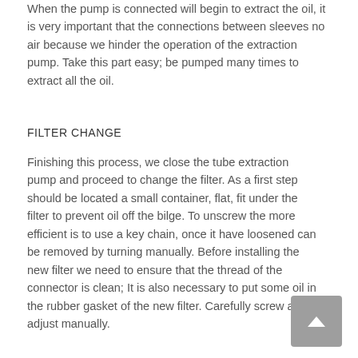When the pump is connected will begin to extract the oil, it is very important that the connections between sleeves no air because we hinder the operation of the extraction pump. Take this part easy; be pumped many times to extract all the oil.
FILTER CHANGE
Finishing this process, we close the tube extraction pump and proceed to change the filter. As a first step should be located a small container, flat, fit under the filter to prevent oil off the bilge. To unscrew the more efficient is to use a key chain, once it have loosened can be removed by turning manually. Before installing the new filter we need to ensure that the thread of the connector is clean; It is also necessary to put some oil in the rubber gasket of the new filter. Carefully screw and adjust manually.